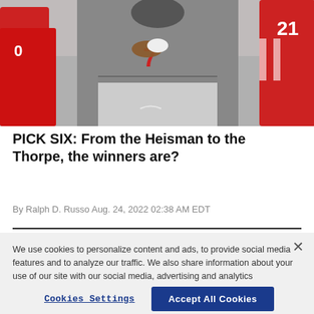[Figure (photo): Football player wearing jersey number 7 in a black uniform surrounded by players in red uniforms during a game.]
PICK SIX: From the Heisman to the Thorpe, the winners are?
By Ralph D. Russo Aug. 24, 2022 02:38 AM EDT
We use cookies to personalize content and ads, to provide social media features and to analyze our traffic. We also share information about your use of our site with our social media, advertising and analytics partners. Privacy Policy
Cookies Settings | Accept All Cookies